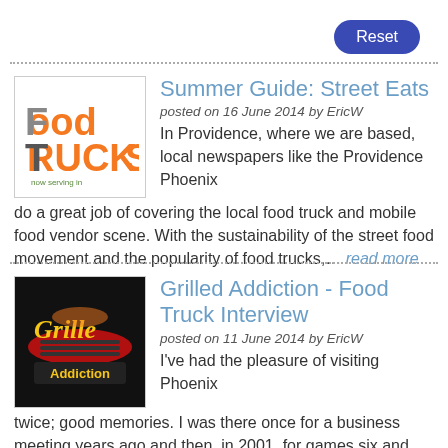Reset
Summer Guide: Street Eats
posted on 16 June 2014 by EricW
In Providence, where we are based, local newspapers like the Providence Phoenix do a great job of covering the local food truck and mobile food vendor scene. With the sustainability of the street food movement and the popularity of food trucks,... read more
Grilled Addiction - Food Truck Interview
posted on 11 June 2014 by EricW
I've had the pleasure of visiting Phoenix twice; good memories. I was there once for a business meeting years ago and then, in 2001, for games six and